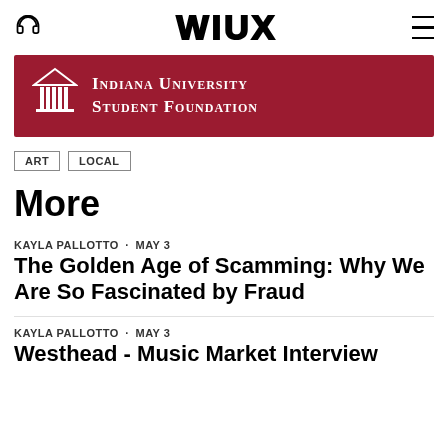WIUX
[Figure (logo): Indiana University Student Foundation banner with building icon on dark red background]
ART
LOCAL
More
KAYLA PALLOTTO · MAY 3
The Golden Age of Scamming: Why We Are So Fascinated by Fraud
KAYLA PALLOTTO · MAY 3
Westhead - Music Market Interview